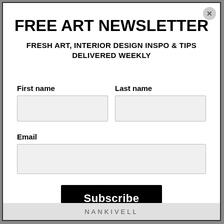FREE ART NEWSLETTER
FRESH ART, INTERIOR DESIGN INSPO & TIPS DELIVERED WEEKLY
First name
Last name
Email
Subscribe
NANKIVELL